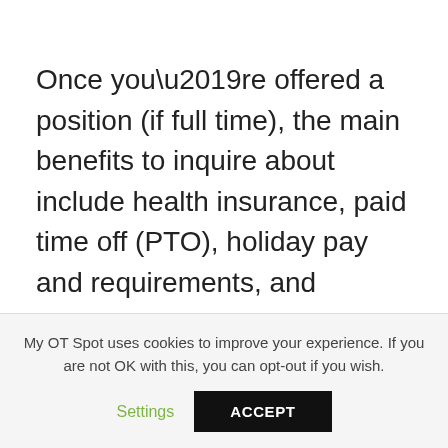Once you’re offered a position (if full time), the main benefits to inquire about include health insurance, paid time off (PTO), holiday pay and requirements, and retirement contributions.
Some companies also might offer continuing education options and reimbursement as well as tuition
My OT Spot uses cookies to improve your experience. If you are not OK with this, you can opt-out if you wish.